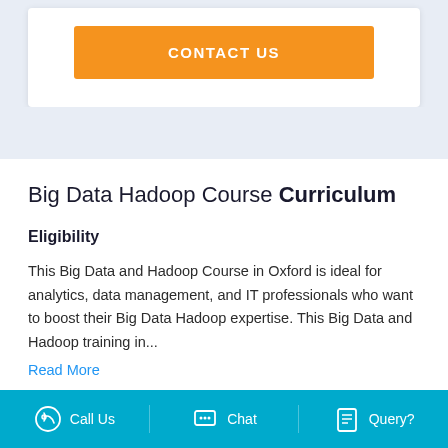[Figure (other): Orange CONTACT US button]
Big Data Hadoop Course Curriculum
Eligibility
This Big Data and Hadoop Course in Oxford is ideal for analytics, data management, and IT professionals who want to boost their Big Data Hadoop expertise. This Big Data and Hadoop training in...
Read More
Call Us   Chat   Query?